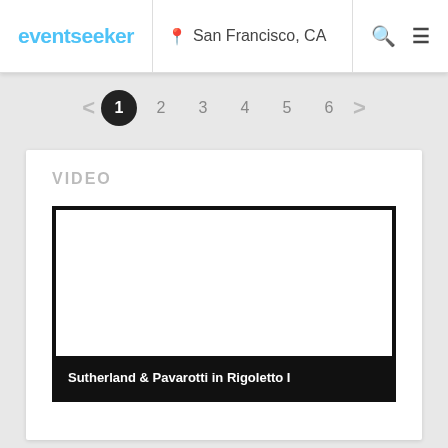[Figure (logo): eventseeker logo in light blue text]
San Francisco, CA
1 2 3 4 5 6
VIDEO
[Figure (screenshot): Video player thumbnail (blank/white) with black border and caption bar reading 'Sutherland & Pavarotti in Rigoletto I']
Sutherland & Pavarotti in Rigoletto I